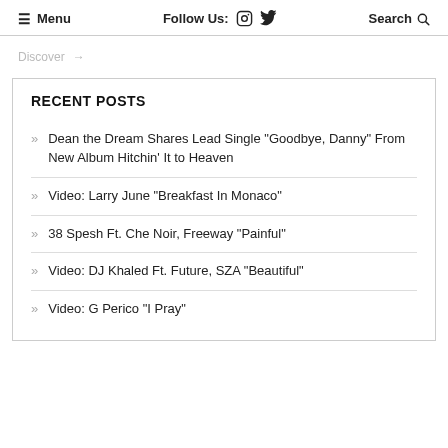≡ Menu   Follow Us: [instagram] [twitter]   Search 🔍
Discover →
RECENT POSTS
Dean the Dream Shares Lead Single "Goodbye, Danny" From New Album Hitchin' It to Heaven
Video: Larry June "Breakfast In Monaco"
38 Spesh Ft. Che Noir, Freeway "Painful"
Video: DJ Khaled Ft. Future, SZA "Beautiful"
Video: G Perico "I Pray"